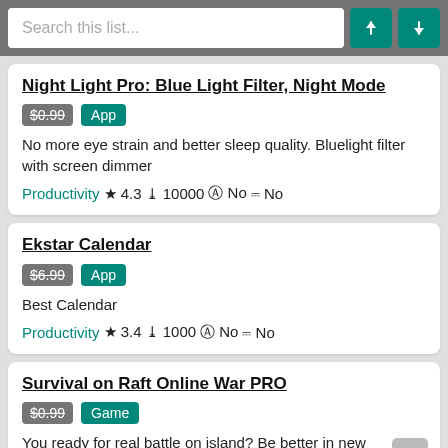Search this list...
Night Light Pro: Blue Light Filter, Night Mode | $0.99 | App | No more eye strain and better sleep quality. Bluelight filter with screen dimmer | Productivity ★ 4.3 ↓ 10000 ⊕ No 🛒 No
Ekstar Calendar | $6.99 | App | Best Calendar | Productivity ★ 3.4 ↓ 1000 ⊕ No 🛒 No
Survival on Raft Online War PRO | $0.99 | Game | You ready for real battle on island? Be better in new online fps survival game!